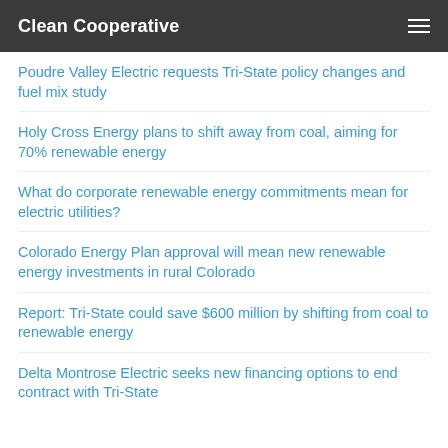Clean Cooperative
Poudre Valley Electric requests Tri-State policy changes and fuel mix study
Holy Cross Energy plans to shift away from coal, aiming for 70% renewable energy
What do corporate renewable energy commitments mean for electric utilities?
Colorado Energy Plan approval will mean new renewable energy investments in rural Colorado
Report: Tri-State could save $600 million by shifting from coal to renewable energy
Delta Montrose Electric seeks new financing options to end contract with Tri-State